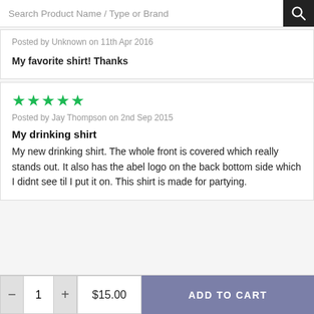Search Product Name / Type or Brand
Posted by Unknown on 11th Apr 2016
My favorite shirt! Thanks
[Figure (other): 5 green star rating]
Posted by Jay Thompson on 2nd Sep 2015
My drinking shirt
My new drinking shirt. The whole front is covered which really stands out. It also has the abel logo on the back bottom side which I didnt see til I put it on. This shirt is made for partying.
1  $15.00  ADD TO CART